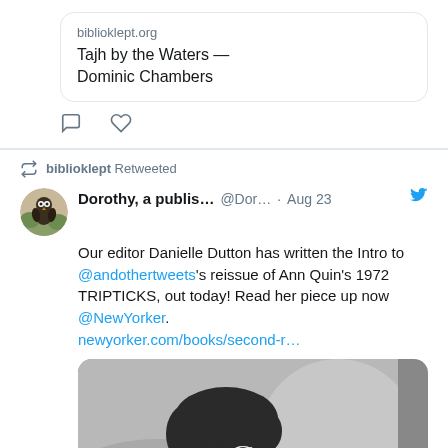biblioklept.org
Tajh by the Waters — Dominic Chambers
biblioklept Retweeted
Dorothy, a publis… @Dor… · Aug 23
Our editor Danielle Dutton has written the Intro to @andothertweets's reissue of Ann Quin's 1972 TRIPTICKS, out today! Read her piece up now @NewYorker. newyorker.com/books/second-r…
[Figure (photo): Black and white photograph of a woman with short dark hair looking upward and to the side]